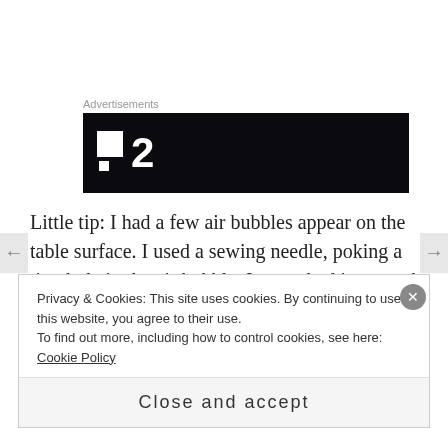[Figure (logo): Advertisement block with dark background showing a stylized logo with two squares and the number 2]
Little tip: I had a few air bubbles appear on the table surface.  I used a sewing needle, poking a tiny hole in the air bubble.  I  smoothed it out and then applied more Mod Podge over top of it. Definitely helped!
Before and after:
Privacy & Cookies: This site uses cookies. By continuing to use this website, you agree to their use.
To find out more, including how to control cookies, see here: Cookie Policy
Close and accept